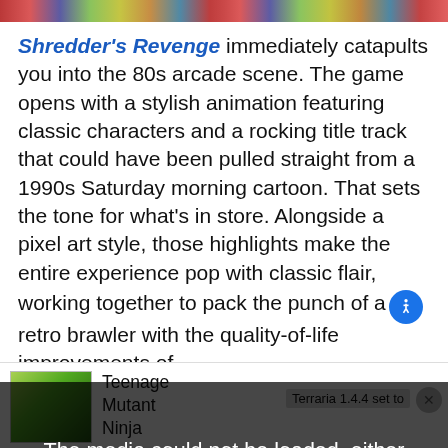[Figure (screenshot): Colorful game banner strip at the top of the page]
Shredder's Revenge immediately catapults you into the 80s arcade scene. The game opens with a stylish animation featuring classic characters and a rocking title track that could have been pulled straight from a 1990s Saturday morning cartoon. That sets the tone for what's in store. Alongside a pixel art style, those highlights make the entire experience pop with classic flair, working together to pack the punch of a retro brawler with the quality-of-life improvements of
[Figure (screenshot): Video player showing Terraria 1.4.4 thumbnail with error overlay: 'The media could not be loaded, either because the server or network failed or because the format is not supported.' with a large X dismiss mark]
Teenage Mutant Ninja